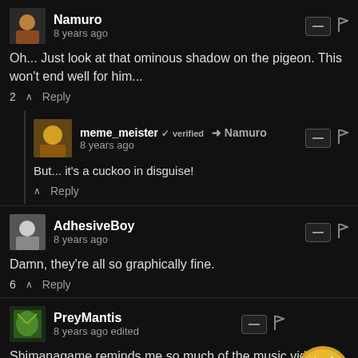Namuro
8 years ago
Oh... Just look at that ominous shadow on the pigeon. This won't end well for him...
2  Reply
meme_meister verified → Namuro
8 years ago
But... it's a cuckoo in disguise!
Reply
AdhesiveBoy
8 years ago
Damn, they're all so graphically fine.
6  Reply
PreyMantis
8 years ago edited
Shimanagame reminds me so much of the music video of the chiptune mix of Hietsuki Bushi: ▶ Hietsuki Bushi (Full Version)